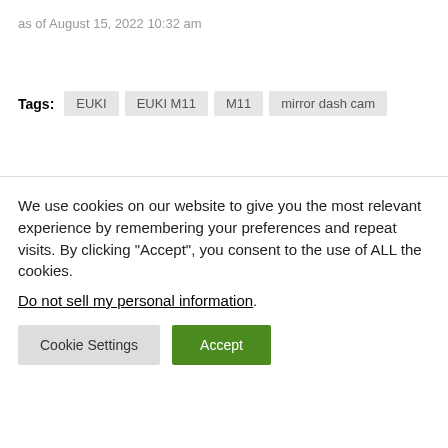as of August 15, 2022 10:32 am
Tags: EUKI  EUKI M11  M11  mirror dash cam
We use cookies on our website to give you the most relevant experience by remembering your preferences and repeat visits. By clicking “Accept”, you consent to the use of ALL the cookies.
Do not sell my personal information.